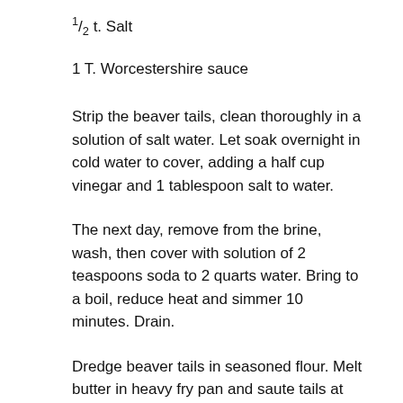½ t. Salt
1 T. Worcestershire sauce
Strip the beaver tails, clean thoroughly in a solution of salt water. Let soak overnight in cold water to cover, adding a half cup vinegar and 1 tablespoon salt to water.
The next day, remove from the brine, wash, then cover with solution of 2 teaspoons soda to 2 quarts water. Bring to a boil, reduce heat and simmer 10 minutes. Drain.
Dredge beaver tails in seasoned flour. Melt butter in heavy fry pan and saute tails at low heat until tender. Mix wine with mustard, sugar, garlic powder and